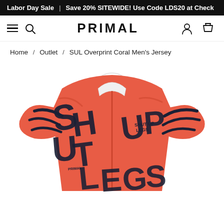Labor Day Sale | Save 20% SITEWIDE! Use Code LDS20 at Check
PRIMAL
Home / Outlet / SUL Overprint Coral Men's Jersey
[Figure (photo): A coral/red cycling jersey with bold black graffiti-style text reading 'SHUT UP LEGS' printed across it, with a front zipper and short sleeves. The Primal logo is visible on the chest. The jersey is displayed against a white background.]